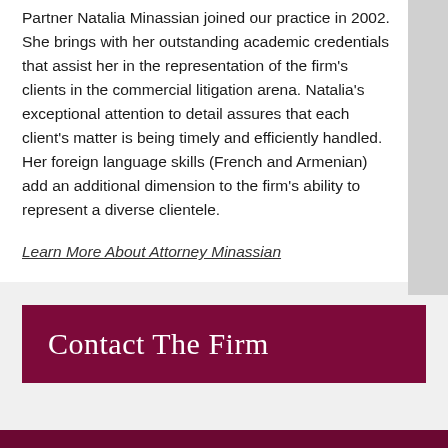Partner Natalia Minassian joined our practice in 2002. She brings with her outstanding academic credentials that assist her in the representation of the firm's clients in the commercial litigation arena. Natalia's exceptional attention to detail assures that each client's matter is being timely and efficiently handled. Her foreign language skills (French and Armenian) add an additional dimension to the firm's ability to represent a diverse clientele.
Learn More About Attorney Minassian
Contact The Firm